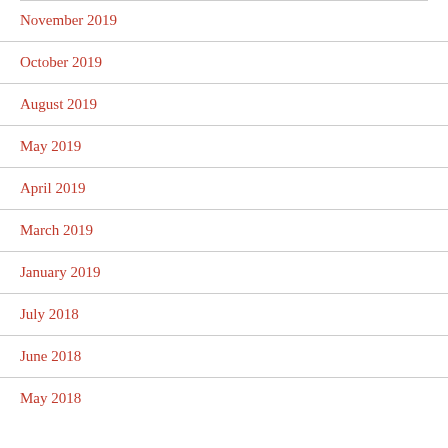November 2019
October 2019
August 2019
May 2019
April 2019
March 2019
January 2019
July 2018
June 2018
May 2018